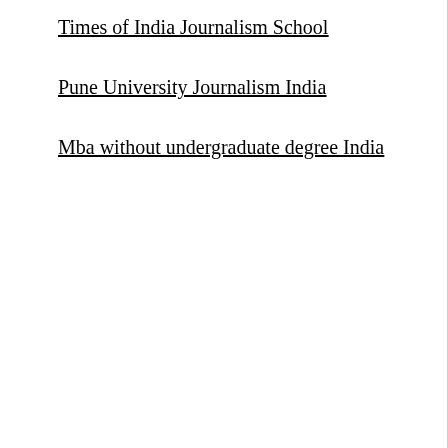Times of India Journalism School
Pune University Journalism India
Mba without undergraduate degree India